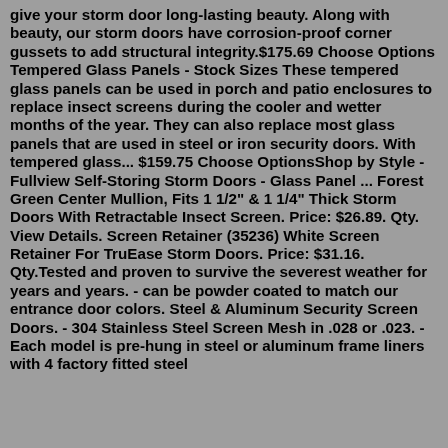give your storm door long-lasting beauty. Along with beauty, our storm doors have corrosion-proof corner gussets to add structural integrity.$175.69 Choose Options Tempered Glass Panels - Stock Sizes These tempered glass panels can be used in porch and patio enclosures to replace insect screens during the cooler and wetter months of the year. They can also replace most glass panels that are used in steel or iron security doors. With tempered glass... $159.75 Choose OptionsShop by Style - Fullview Self-Storing Storm Doors - Glass Panel ... Forest Green Center Mullion, Fits 1 1/2" & 1 1/4" Thick Storm Doors With Retractable Insect Screen. Price: $26.89. Qty. View Details. Screen Retainer (35236) White Screen Retainer For TruEase Storm Doors. Price: $31.16. Qty.Tested and proven to survive the severest weather for years and years. - can be powder coated to match our entrance door colors. Steel & Aluminum Security Screen Doors. - 304 Stainless Steel Screen Mesh in .028 or .023. - Each model is pre-hung in steel or aluminum frame liners with 4 factory fitted steel